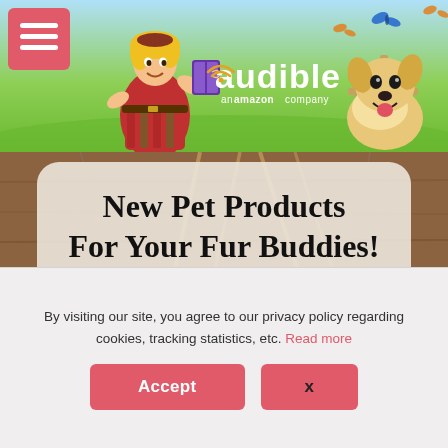[Figure (illustration): Audible (an Amazon company) banner with cartoon female pirate character and illustrated fluffy dog, green outdoor background with butterflies, hamburger menu button in top left corner, Audible logo with wifi signal icon in center]
[Figure (illustration): New Pet Products For Your Fur Buddies! Cats & Dogs - promotional banner with wooden background and circular dog portrait photos. Text displayed in rounded rectangle overlay.]
By visiting our site, you agree to our privacy policy regarding cookies, tracking statistics, etc. Read more
Accept
x